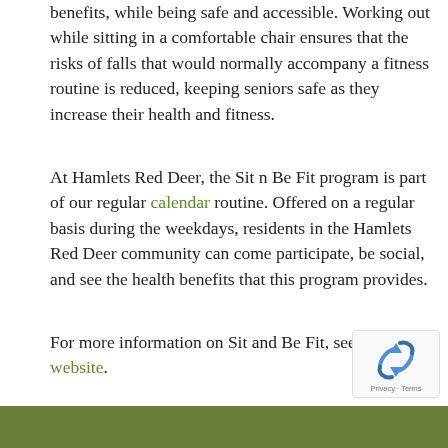benefits, while being safe and accessible. Working out while sitting in a comfortable chair ensures that the risks of falls that would normally accompany a fitness routine is reduced, keeping seniors safe as they increase their health and fitness.
At Hamlets Red Deer, the Sit n Be Fit program is part of our regular calendar routine. Offered on a regular basis during the weekdays, residents in the Hamlets Red Deer community can come participate, be social, and see the health benefits that this program provides.
For more information on Sit and Be Fit, see their website.
[Figure (other): reCAPTCHA badge with recycling-arrows logo and Privacy - Terms text]